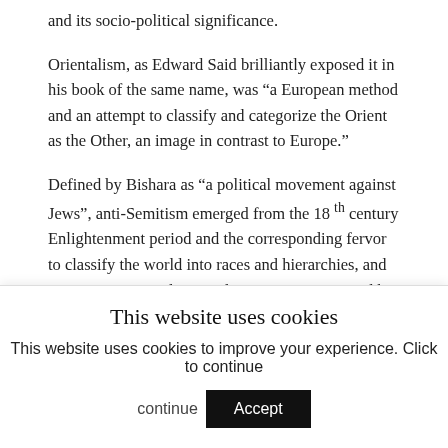and its socio-political significance.
Orientalism, as Edward Said brilliantly exposed it in his book of the same name, was “a European method and an attempt to classify and categorize the Orient as the Other, an image in contrast to Europe.”
Defined by Bishara as “a political movement against Jews”, anti-Semitism emerged from the 18 th century Enlightenment period and the corresponding fervor to classify the world into races and hierarchies, and to categorize people according to groups inspired by Biology and Darwinism.
This, Bishara continued, included both the Arabs and the Jews in the “Orientalist project”. Both Jews living in
This website uses cookies
This website uses cookies to improve your experience. Click to continue
Accept